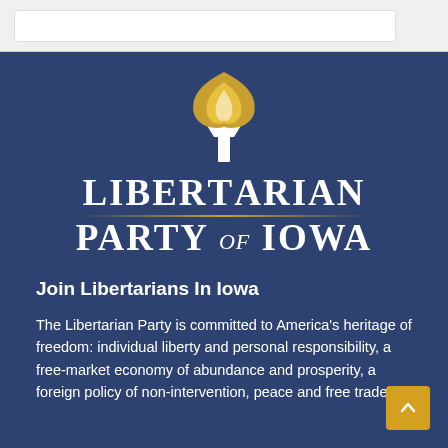[Figure (logo): Libertarian Party of Iowa logo with torch flame and text]
Join Libertarians In Iowa
The Libertarian Party is committed to America's heritage of freedom: individual liberty and personal responsibility, a free-market economy of abundance and prosperity, a foreign policy of non-intervention, peace and free trade.